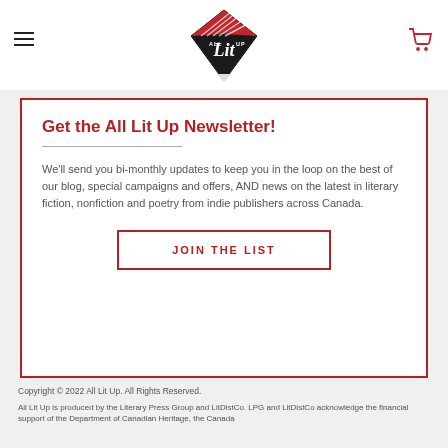All Lit Up — navigation header with logo, hamburger menu, and cart icon
Get the All Lit Up Newsletter!
We'll send you bi-monthly updates to keep you in the loop on the best of our blog, special campaigns and offers, AND news on the latest in literary fiction, nonfiction and poetry from indie publishers across Canada.
JOIN THE LIST
Copyright © 2022 All Lit Up. All Rights Reserved.
All Lit Up is produced by the Literary Press Group and LitDistCo. LPG and LitDistCo acknowledge the financial support of the Department of Canadian Heritage, the Canada